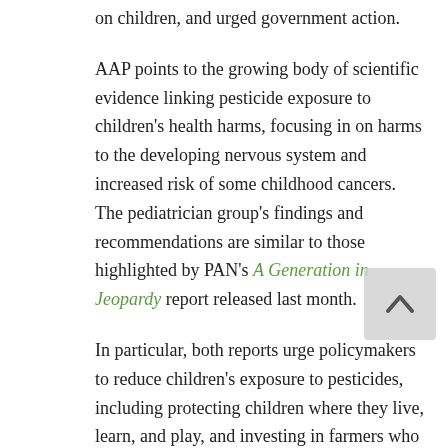on children, and urged government action.
AAP points to the growing body of scientific evidence linking pesticide exposure to children's health harms, focusing in on harms to the developing nervous system and increased risk of some childhood cancers. The pediatrician group's findings and recommendations are similar to those highlighted by PAN's A Generation in Jeopardy report released last month.
In particular, both reports urge policymakers to reduce children's exposure to pesticides, including protecting children where they live, learn, and play, and investing in farmers who pursue less toxic pesticide alternatives.